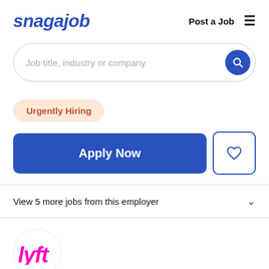snagajob   Post a Job  ≡
Job title, industry or company
Urgently Hiring
Apply Now
View 5 more jobs from this employer
[Figure (logo): Lyft logo in pink/magenta italic font inside a circle]